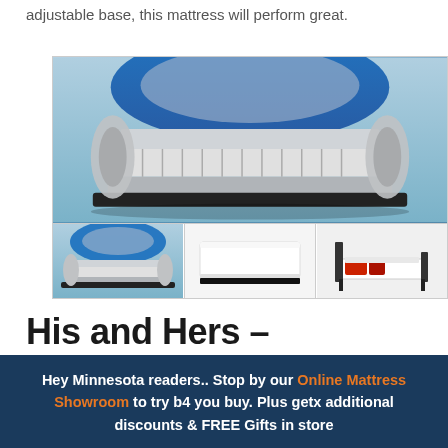adjustable base, this mattress will perform great.
[Figure (photo): Cross-section cutaway image of a mattress showing internal layers including blue foam top, coil system, and base layers. Below are three thumbnail images: the first showing the same cutaway view, the second showing a plain white mattress, and the third showing a mattress on a bed frame.]
His and Hers –
Hey Minnesota readers.. Stop by our Online Mattress Showroom to try b4 you buy. Plus getx additional discounts & FREE Gifts in store